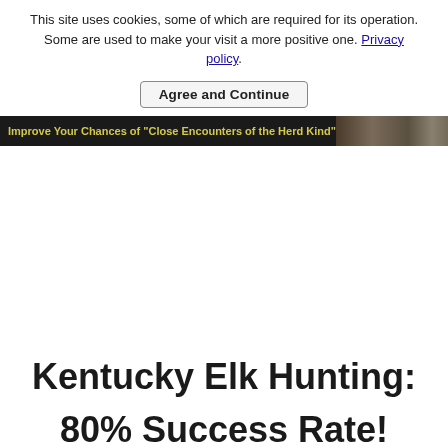This site uses cookies, some of which are required for its operation. Some are used to make your visit a more positive one. Privacy policy.
Agree and Continue
[Figure (screenshot): Dark header banner with yellow text 'Improve Your Chances of "Close Encounters of the Herd Kind"' and a nature/hunting photo on the right side]
Kentucky Elk Hunting:

80% Success Rate!